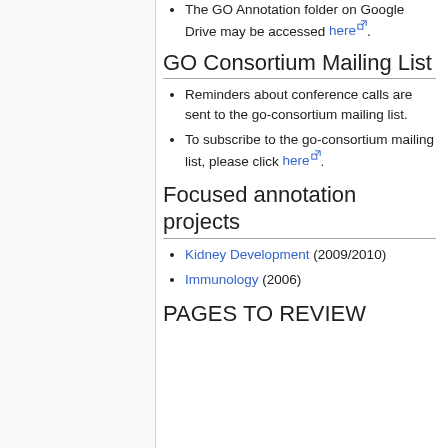The GO Annotation folder on Google Drive may be accessed here.
GO Consortium Mailing List
Reminders about conference calls are sent to the go-consortium mailing list.
To subscribe to the go-consortium mailing list, please click here.
Focused annotation projects
Kidney Development (2009/2010)
Immunology (2006)
PAGES TO REVIEW